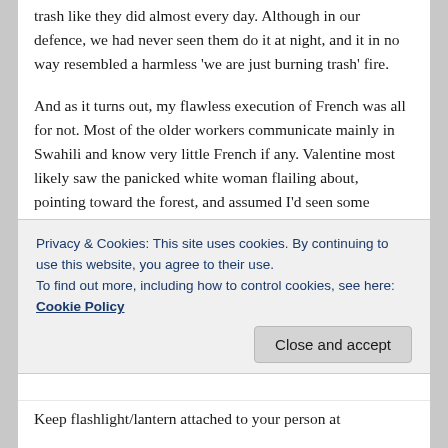trash like they did almost every day. Although in our defence, we had never seen them do it at night, and it in no way resembled a harmless 'we are just burning trash' fire.
And as it turns out, my flawless execution of French was all for not. Most of the older workers communicate mainly in Swahili and know very little French if any. Valentine most likely saw the panicked white woman flailing about, pointing toward the forest, and assumed I'd seen some dangerous intruder.
And as for my near brush with death in the bush? I was actually in my own backyard, no further than a
Privacy & Cookies: This site uses cookies. By continuing to use this website, you agree to their use.
To find out more, including how to control cookies, see here:
Cookie Policy
Close and accept
Keep flashlight/lantern attached to your person at